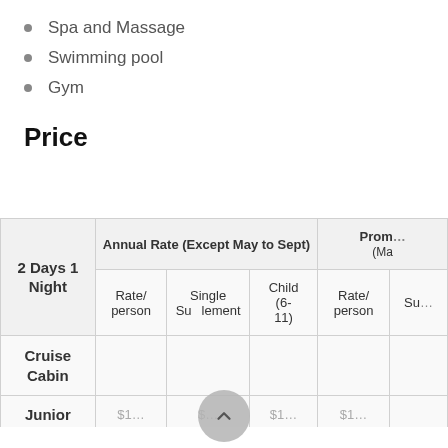Spa and Massage
Swimming pool
Gym
Price
| 2 Days 1 Night | Annual Rate (Except May to Sept) — Rate/person | Annual Rate (Except May to Sept) — Single Supplement | Annual Rate (Except May to Sept) — Child (6-11) | Promo (Ma...) — Rate/person | Promo (Ma...) — Su... |
| --- | --- | --- | --- | --- | --- |
| Cruise Cabin | Rate/ person | Single Supplement | Child (6-11) | Rate/ person | Su... |
| Junior | ... | ... | ... | ... |  |